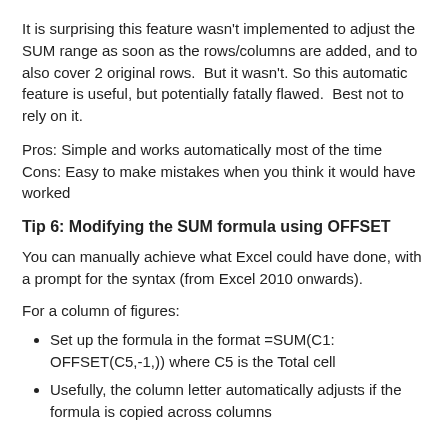It is surprising this feature wasn't implemented to adjust the SUM range as soon as the rows/columns are added, and to also cover 2 original rows.  But it wasn't. So this automatic feature is useful, but potentially fatally flawed.  Best not to rely on it.
Pros: Simple and works automatically most of the time
Cons: Easy to make mistakes when you think it would have worked
Tip 6: Modifying the SUM formula using OFFSET
You can manually achieve what Excel could have done, with a prompt for the syntax (from Excel 2010 onwards).
For a column of figures:
Set up the formula in the format =SUM(C1: OFFSET(C5,-1,)) where C5 is the Total cell
Usefully, the column letter automatically adjusts if the formula is copied across columns